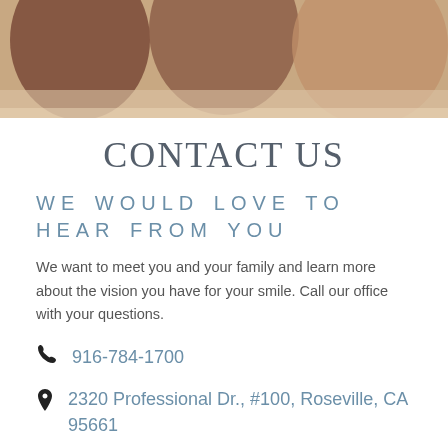[Figure (photo): Photo banner showing people smiling, cropped at top portion]
CONTACT US
WE WOULD LOVE TO HEAR FROM YOU
We want to meet you and your family and learn more about the vision you have for your smile. Call our office with your questions.
916-784-1700
2320 Professional Dr., #100, Roseville, CA 95661